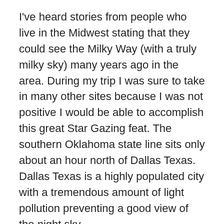I've heard stories from people who live in the Midwest stating that they could see the Milky Way (with a truly milky sky) many years ago in the area. During my trip I was sure to take in many other sites because I was not positive I would be able to accomplish this great Star Gazing feat. The southern Oklahoma state line sits only about an hour north of Dallas Texas. Dallas Texas is a highly populated city with a tremendous amount of light pollution preventing a good view of the night sky.
On our first attempt, we travelled to Eisenhower State Park at Lake Texoma. We patiently waited until the stars began to appear. Bats were prevalent and the crowds of recreation seekers were thinning out as folks packed up to leave. We could see many stars, but no more than what we see in East Tennessee. We waited longer hoping for a darker sky. We were at least an hour due north of Dallas